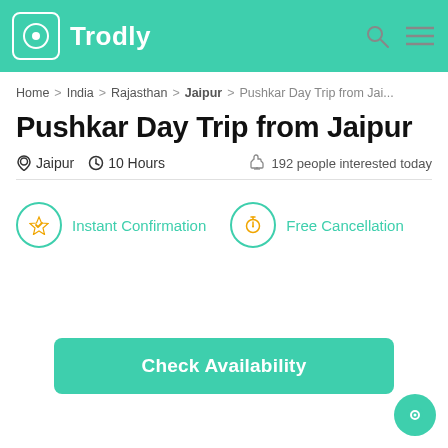Trodly
Home > India > Rajasthan > Jaipur > Pushkar Day Trip from Jai...
Pushkar Day Trip from Jaipur
Jaipur  10 Hours  192 people interested today
Instant Confirmation   Free Cancellation
Check Availability